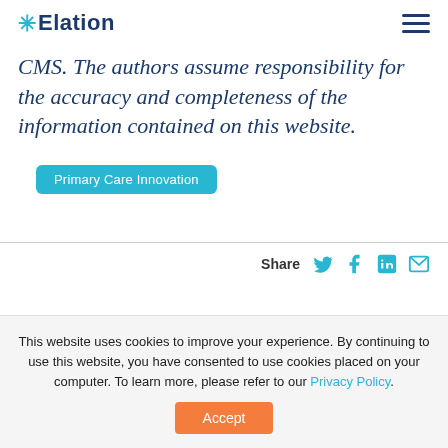Elation
CMS. The authors assume responsibility for the accuracy and completeness of the information contained on this website.
Primary Care Innovation
Share
This website uses cookies to improve your experience. By continuing to use this website, you have consented to use cookies placed on your computer. To learn more, please refer to our Privacy Policy.
Accept